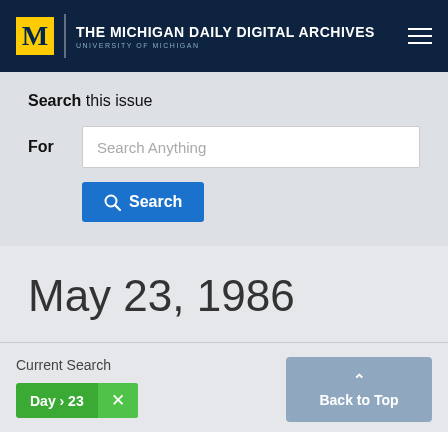THE MICHIGAN DAILY DIGITAL ARCHIVES — UNIVERSITY OF MICHIGAN
Search this issue
For — Search Anything
Search
May 23, 1986
Current Search
Day > 23 ×
Back to Top